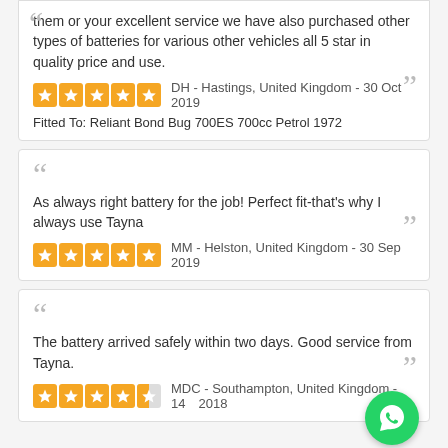them or your excellent service we have also purchased other types of batteries for various other vehicles all 5 star in quality price and use.
DH - Hastings, United Kingdom - 30 Oct 2019
Fitted To: Reliant Bond Bug 700ES 700cc Petrol 1972
As always right battery for the job! Perfect fit-that's why I always use Tayna
MM - Helston, United Kingdom - 30 Sep 2019
The battery arrived safely within two days. Good service from Tayna.
MDC - Southampton, United Kingdom - 14... 2018
Service was very efficient - will use Tayna next time